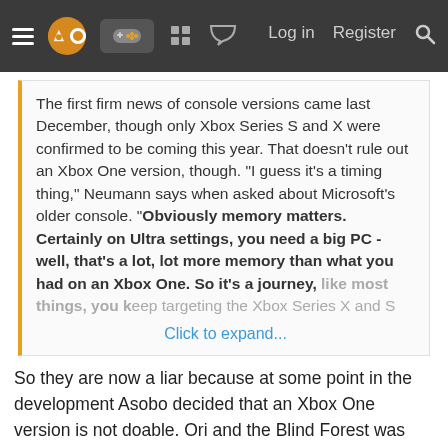Navigation bar with menu, logo, gamepad icon, grid icon, chat icon, Log in, Register, Search
The first firm news of console versions came last December, though only Xbox Series S and X were confirmed to be coming this year. That doesn't rule out an Xbox One version, though. "I guess it's a timing thing," Neumann says when asked about Microsoft's older console. "Obviously memory matters. Certainly on Ultra settings, you need a big PC - well, that's a lot, lot more memory than what you had on an Xbox One. So it's a journey, like most things, you k... the Xbox Series X and S
Click to expand...
So they are now a liar because at some point in the development Asobo decided that an Xbox One version is not doable. Ori and the Blind Forest was also announced for 360 but that version was ultimately cancelled.
I wonder where this "where were you guys" whataboutism thread derailer was when this thread was made.
Matt Booty (Xbox): No next gen exclusives for...
From MCVUK: “All of our games… will play up and down the family of devices” – Xbox’s Matt Booty ends the next-gen exclusive as we know it “As our content comes out over the